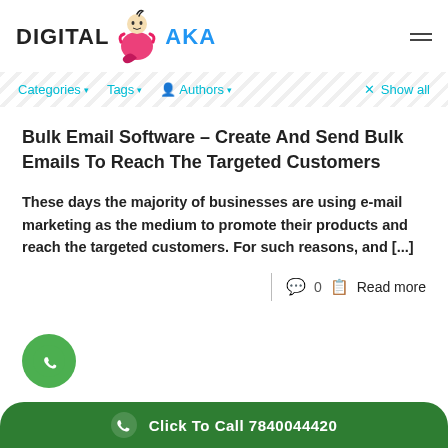DIGITAL AKA
Categories ▾   Tags ▾   Authors ▾   × Show all
Bulk Email Software – Create And Send Bulk Emails To Reach The Targeted Customers
These days the majority of businesses are using e-mail marketing as the medium to promote their products and reach the targeted customers. For such reasons, and [...]
0   Read more
[Figure (logo): WhatsApp floating button - green circle with white phone handset icon]
Click To Call 7840044420